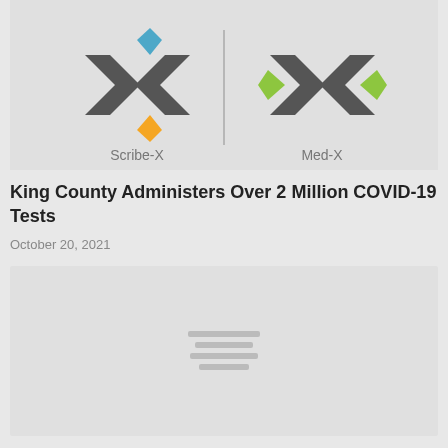[Figure (logo): Scribe-X and Med-X logos side by side on a light gray background. Left logo: X shape with blue top, orange bottom, dark grey sides labeled 'Scribe-X'. Right logo: X shape with green left, dark grey right sides labeled 'Med-X'. Separated by a vertical line.]
King County Administers Over 2 Million COVID-19 Tests
October 20, 2021
[Figure (photo): Gray placeholder image with small horizontal loading lines in the center]